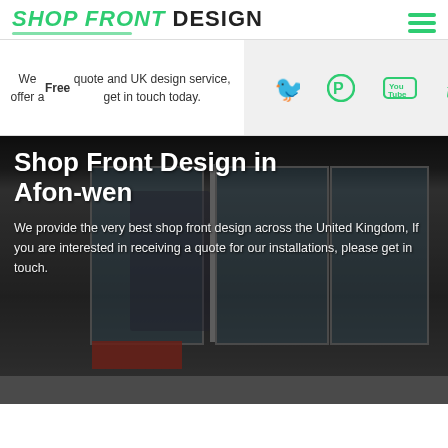[Figure (logo): Shop Front Design logo with green italic 'SHOP FRONT' and black 'DESIGN' text, green underline decoration, and green hamburger menu icon top right]
We offer a Free quote and UK design service, get in touch today.
[Figure (infographic): Social media icons: Twitter, Pinterest, YouTube, Tumblr — all in green on a light grey background]
[Figure (photo): Photo of a modern shop front with large dark glass panels, mannequins visible inside, red sign at bottom left]
Shop Front Design in Afon-wen
We provide the very best shop front design across the United Kingdom, If you are interested in receiving a quote for our installations, please get in touch.